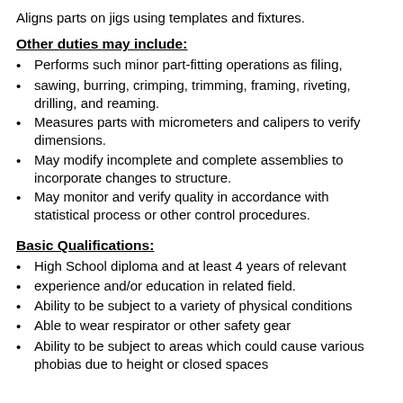Aligns parts on jigs using templates and fixtures.
Other duties may include:
Performs such minor part-fitting operations as filing,
sawing, burring, crimping, trimming, framing, riveting, drilling, and reaming.
Measures parts with micrometers and calipers to verify dimensions.
May modify incomplete and complete assemblies to incorporate changes to structure.
May monitor and verify quality in accordance with statistical process or other control procedures.
Basic Qualifications:
High School diploma and at least 4 years of relevant
experience and/or education in related field.
Ability to be subject to a variety of physical conditions
Able to wear respirator or other safety gear
Ability to be subject to areas which could cause various phobias due to height or closed spaces